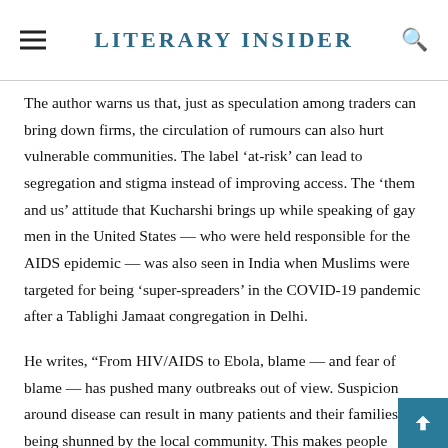Literary Insider
The author warns us that, just as speculation among traders can bring down firms, the circulation of rumours can also hurt vulnerable communities. The label ‘at-risk’ can lead to segregation and stigma instead of improving access. The ‘them and us’ attitude that Kucharshi brings up while speaking of gay men in the United States — who were held responsible for the AIDS epidemic — was also seen in India when Muslims were targeted for being ‘super-spreaders’ in the COVID-19 pandemic after a Tablighi Jamaat congregation in Delhi.
He writes, “From HIV/AIDS to Ebola, blame — and fear of blame — has pushed many outbreaks out of view. Suspicion around disease can result in many patients and their families being shunned by the local community. This makes people reluctant to report the